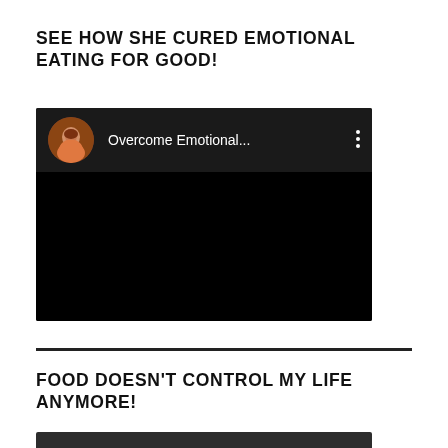SEE HOW SHE CURED EMOTIONAL EATING FOR GOOD!
[Figure (screenshot): Embedded video player showing a YouTube-style video with a circular avatar of a woman in an orange shirt on the left, the text 'Overcome Emotional...' and a vertical three-dot menu icon on a dark header. The main video area is black.]
FOOD DOESN'T CONTROL MY LIFE ANYMORE!
[Figure (screenshot): Partial view of a second embedded video player with a dark grey background, partially cut off at the bottom of the page.]